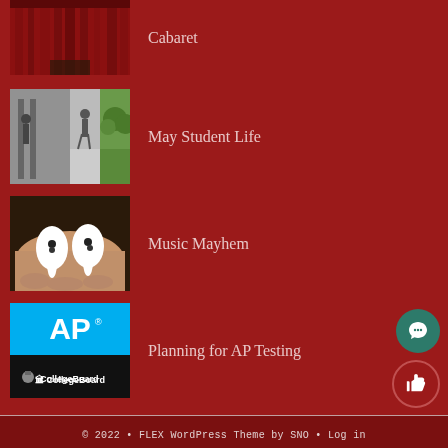Cabaret
May Student Life
Music Mayhem
Planning for AP Testing
© 2022 • FLEX WordPress Theme by SNO • Log in